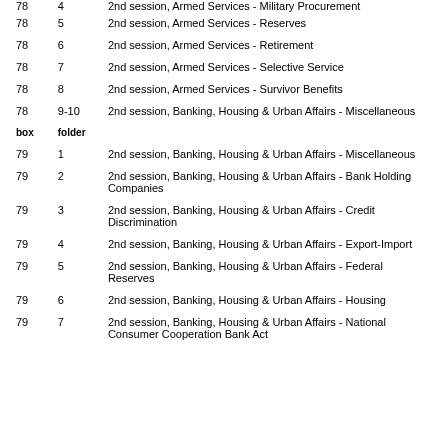| box | folder | description |
| --- | --- | --- |
| 78 | 4 | 2nd session, Armed Services - Military Procurement |
| 78 | 5 | 2nd session, Armed Services - Reserves |
| 78 | 6 | 2nd session, Armed Services - Retirement |
| 78 | 7 | 2nd session, Armed Services - Selective Service |
| 78 | 8 | 2nd session, Armed Services - Survivor Benefits |
| 78 | 9-10 | 2nd session, Banking, Housing & Urban Affairs - Miscellaneous |
| 79 | 1 | 2nd session, Banking, Housing & Urban Affairs - Miscellaneous |
| 79 | 2 | 2nd session, Banking, Housing & Urban Affairs - Bank Holding Companies |
| 79 | 3 | 2nd session, Banking, Housing & Urban Affairs - Credit Discrimination |
| 79 | 4 | 2nd session, Banking, Housing & Urban Affairs - Export-Import |
| 79 | 5 | 2nd session, Banking, Housing & Urban Affairs - Federal Reserves |
| 79 | 6 | 2nd session, Banking, Housing & Urban Affairs - Housing |
| 79 | 7 | 2nd session, Banking, Housing & Urban Affairs - National Consumer Cooperation Bank Act |